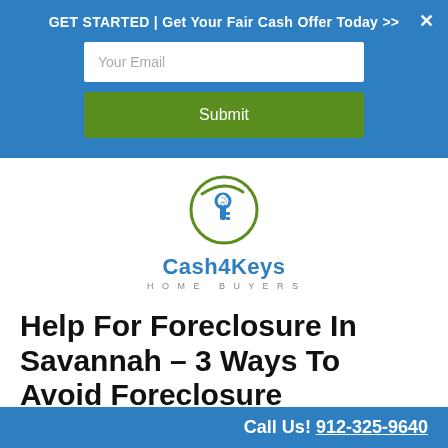GET STARTED | Get Your Fair Cash Offer Today >>
[Figure (screenshot): Email input field with placeholder 'Your Email' and a green Submit button, inside a blue call-to-action banner]
[Figure (logo): Cash4Keys Home Buyers logo with circular emblem showing a key and dollar sign, blue text 'Cash4Keys' and subtitle 'HOME BUYERS']
Help For Foreclosure In Savannah – 3 Ways To Avoid Foreclosure
Call Us! 912-325-9640